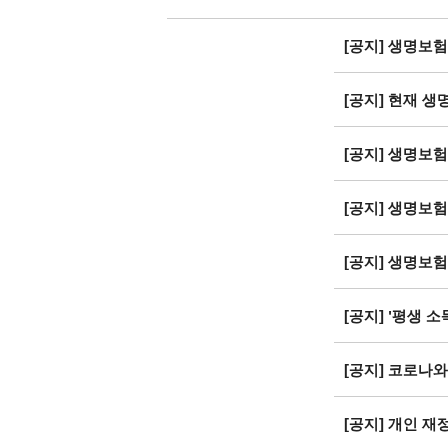[공지] 생명보험에 관하여
[공지] 현재 생명보험 상품 개발 추세
[공지] 생명보험의 올바른 선택 - 유니버셜 생명...
[공지] 생명보험의 종류
[공지] 생명보험의 혜택
[공지] '평생 소득' 만드는 합리적 은퇴설계 짜이...
[공지] 코로나와 생명보험
[공지] 개인 재정설계의 기초가 되는 생명보험...
[공지] 은퇴자금은 어떻게 마련하나.